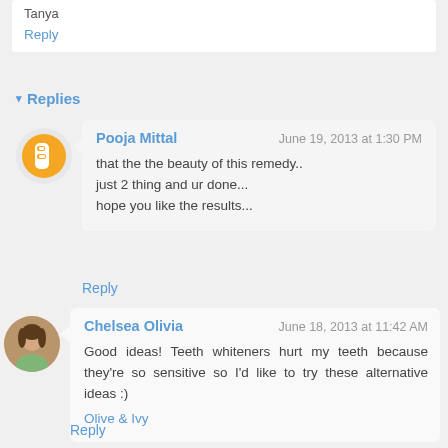Tanya
Reply
Replies
Pooja Mittal — June 19, 2013 at 1:30 PM — that the the the beauty of this remedy.. just 2 thing and ur done... hope you like the results...
Reply
Chelsea Olivia — June 18, 2013 at 11:42 AM — Good ideas! Teeth whiteners hurt my teeth because they're so sensitive so I'd like to try these alternative ideas :) Olive & Ivy
Reply